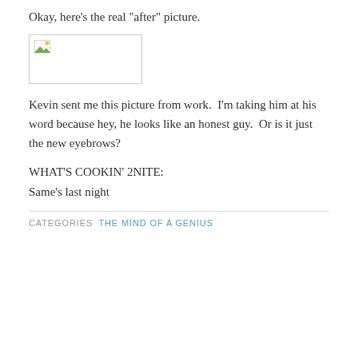Okay, here’s the real “after” picture.
[Figure (photo): Broken/missing image placeholder with green image icon in top-left corner]
Kevin sent me this picture from work.  I’m taking him at his word because hey, he looks like an honest guy.  Or is it just the new eyebrows?
WHAT’S COOKIN’ 2NITE:
Same’s last night
CATEGORIES  THE MIND OF A GENIUS